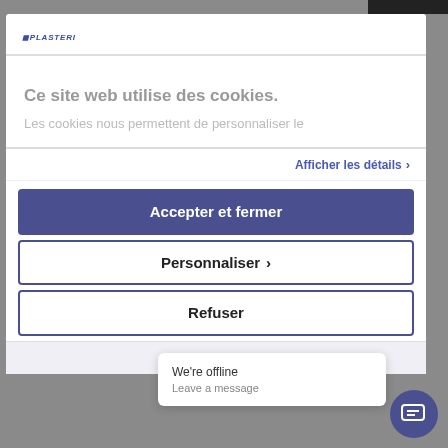[Figure (screenshot): Cookie consent modal dialog on a French website. Contains logo, cookie notice text, and three buttons: 'Accepter et fermer', 'Personnaliser', and 'Refuser'. A chat popup shows 'We're offline / Leave a message'.]
Ce site web utilise des cookies.
Les cookies nous permettent de personnaliser le
Afficher les détails ›
Accepter et fermer
Personnaliser ›
Refuser
Powered by
We're offline
Leave a message